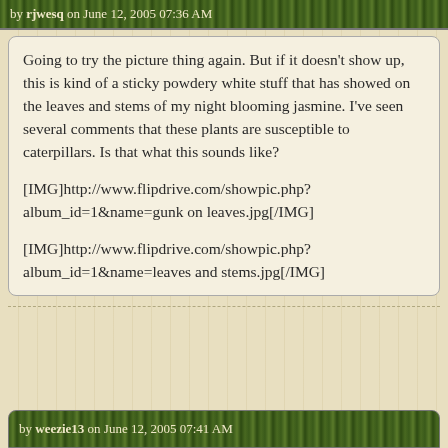by rjwesq on June 12, 2005 07:36 AM
Going to try the picture thing again. But if it doesn't show up, this is kind of a sticky powdery white stuff that has showed on the leaves and stems of my night blooming jasmine. I've seen several comments that these plants are susceptible to caterpillars. Is that what this sounds like?

[IMG]http://www.flipdrive.com/showpic.php?album_id=1&name=gunk on leaves.jpg[/IMG]

[IMG]http://www.flipdrive.com/showpic.php?album_id=1&name=leaves and stems.jpg[/IMG]
by weezie13 on June 12, 2005 07:41 AM